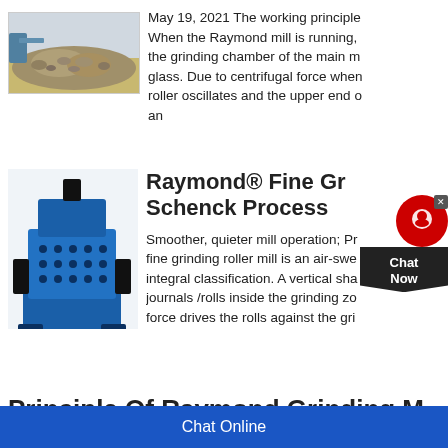[Figure (photo): Photo of a pile of crushed rocks/gravel with machinery in background]
May 19, 2021 The working principle... When the Raymond mill is running, the grinding chamber of the main m... glass. Due to centrifugal force when... roller oscillates and the upper end o... an
[Figure (photo): Photo of a blue Raymond Fine Grinder machine by Schenck Process]
Raymond® Fine Gr... Schenck Process
Smoother, quieter mill operation; Pr... fine grinding roller mill is an air-swe... integral classification. A vertical sha... journals /rolls inside the grinding zo... force drives the rolls against the gri...
Principle Of Raymond Grinding M...
Chat Online